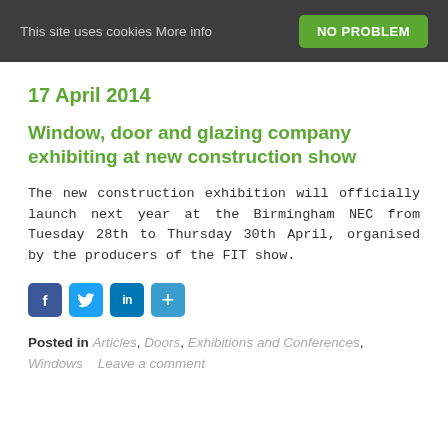This site uses cookies More info  NO PROBLEM
17 April 2014
Window, door and glazing company exhibiting at new construction show
The new construction exhibition will officially launch next year at the Birmingham NEC from Tuesday 28th to Thursday 30th April, organised by the producers of the FIT show.
[Figure (other): Social sharing icons: Facebook, Twitter, LinkedIn, and a share/plus button]
Posted in Articles, Doors, Exhibitions and Conferences, Windows    Leave a comment